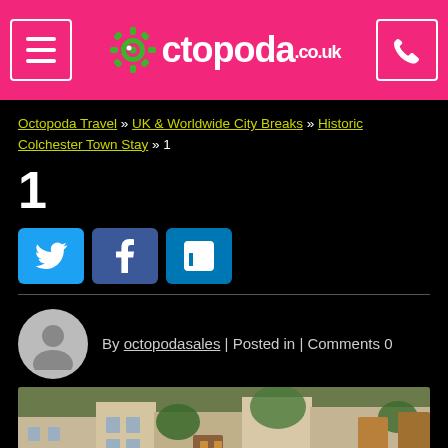Octopoda.co.uk
Octopoda Travel » UK & Worldwide City Breaks » Historic Colchester Town Stay » 1
1
[Figure (screenshot): Social sharing buttons: Twitter (blue bird), Facebook (blue f), LinkedIn (blue in)]
By octopodasales | Posted in | Comments 0
[Figure (photo): Photo of a historic courtyard with timber-framed buildings, wooden doors, greenery and plants]